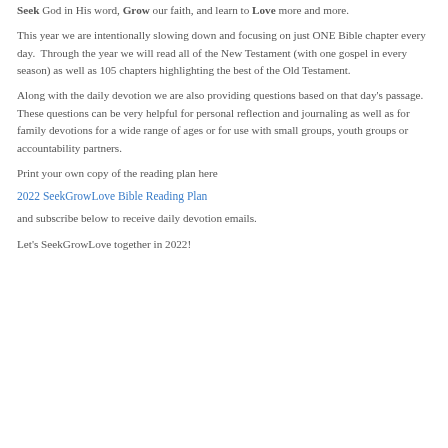Seek God in His word, Grow our faith, and learn to Love more and more.
This year we are intentionally slowing down and focusing on just ONE Bible chapter every day.  Through the year we will read all of the New Testament (with one gospel in every season) as well as 105 chapters highlighting the best of the Old Testament.
Along with the daily devotion we are also providing questions based on that day's passage.  These questions can be very helpful for personal reflection and journaling as well as for family devotions for a wide range of ages or for use with small groups, youth groups or accountability partners.
Print your own copy of the reading plan here
2022 SeekGrowLove Bible Reading Plan
and subscribe below to receive daily devotion emails.
Let's SeekGrowLove together in 2022!